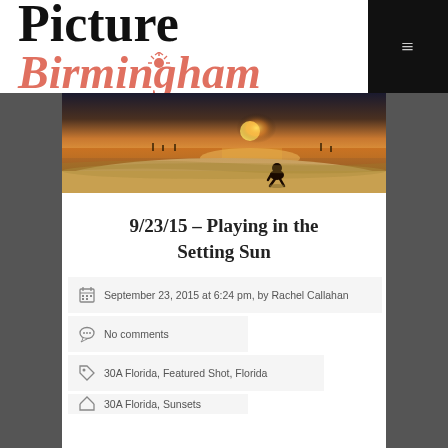Picture Birmingham
[Figure (photo): Sunset beach scene with silhouette of child crouching on shore, water reflections, people in background]
9/23/15 – Playing in the Setting Sun
September 23, 2015 at 6:24 pm, by Rachel Callahan
No comments
30A Florida, Featured Shot, Florida